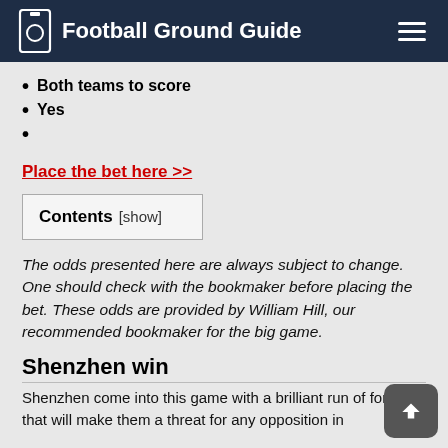Football Ground Guide
Both teams to score
Yes
Place the bet here >>
| Contents [show] |
| --- |
The odds presented here are always subject to change. One should check with the bookmaker before placing the bet. These odds are provided by William Hill, our recommended bookmaker for the big game.
Shenzhen win
Shenzhen come into this game with a brilliant run of form that will make them a threat for any opposition in